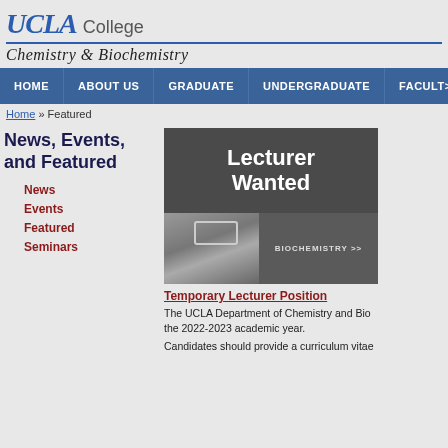UCLA College Chemistry & Biochemistry
HOME | ABOUT US | GRADUATE | UNDERGRADUATE | FACULTY
Home » Featured
News, Events, and Featured
News
Events
Featured
Seminars
[Figure (photo): Lecturer Wanted - Biochemistry promotional image showing text 'Lecturer Wanted' over dark background and a photo of a person at a whiteboard with 'BIOCHEMISTRY >>' text]
Temporary Lecturer Position
The UCLA Department of Chemistry and Bio... the 2022-2023 academic year.
Candidates should provide a curriculum vitae...